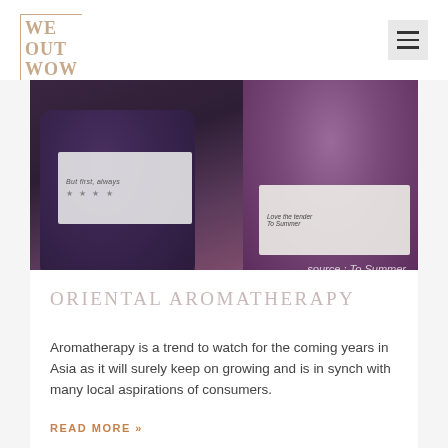WE OUT WOW
[Figure (photo): Two dark purple/violet candle jars from the brand 'To Summer'. The left jar has a white label reading 'But first, always' with dots below. The right jar has a white label partially visible. Image shows an overlay text 'source : To Summer'.]
source : To Summer
ORIENTAL AROMATHERAPY
Aromatherapy is a trend to watch for the coming years in Asia as it will surely keep on growing and is in synch with many local aspirations of consumers.
READ MORE »